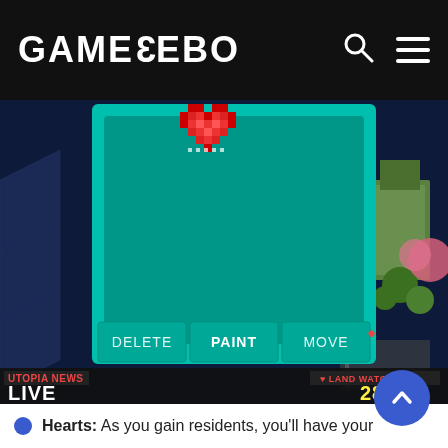GAMEZEBO
[Figure (screenshot): Mobile game screenshot showing a teal/cyan dialog panel with a pixelated red heart shape at the top. The panel has three buttons at the bottom labeled DELETE, PAINT (bold), and MOVE. Below the panel is a game HUD showing 'UTOPIA NEWS | LIVE' on the left and 'LAND WATCH 28/30' on the right. The background shows an isometric city-builder game scene with buildings and trees.]
Hearts: As you gain residents, you'll have your